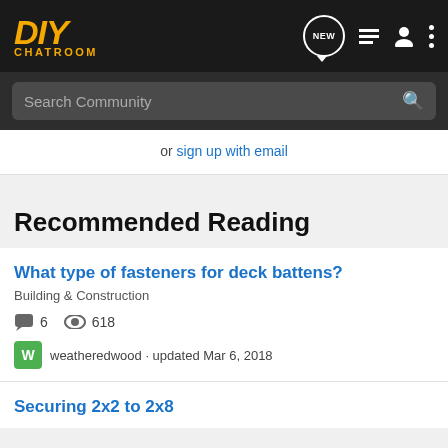DIY CHATROOM
Search Community
or sign up with email
Recommended Reading
What type of fasteners for deck battens?
Building & Construction
6  618
weatheredwood · updated Mar 6, 2018
Securing 2x2 to 2x8